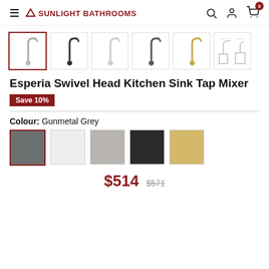SUNLIGHT BATHROOMS
[Figure (photo): Six thumbnail images of kitchen sink tap mixers in different finishes: chrome/silver (selected), matte black, polished chrome, gunmetal, brushed gold, and a line drawing/schematic view]
Esperia Swivel Head Kitchen Sink Tap Mixer
Save 10%
Colour: Gunmetal Grey
[Figure (illustration): Five colour swatches: Gunmetal Grey (selected, dark grey), White/Chrome, Light Grey, Matte Black, Brushed Gold]
$514  $571